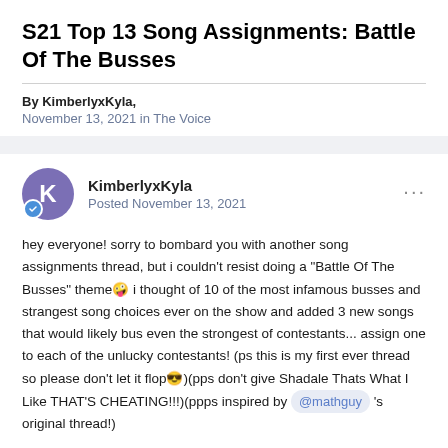S21 Top 13 Song Assignments: Battle Of The Busses
By KimberlyxKyla,
November 13, 2021 in The Voice
KimberlyxKyla
Posted November 13, 2021
hey everyone! sorry to bombard you with another song assignments thread, but i couldn't resist doing a "Battle Of The Busses" theme🤪 i thought of 10 of the most infamous busses and strangest song choices ever on the show and added 3 new songs that would likely bus even the strongest of contestants... assign one to each of the unlucky contestants! (ps this is my first ever thread so please don't let it flop😎)(pps don't give Shadale Thats What I Like THAT'S CHEATING!!!)(ppps inspired by @mathguy 's original thread!)